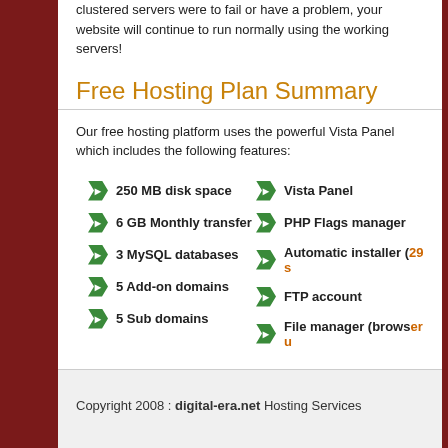clustered servers were to fail or have a problem, your website will continue to run normally using the working servers!
Free Hosting Plan Summary
Our free hosting platform uses the powerful Vista Panel which includes the following features:
250 MB disk space
Vista Panel
6 GB Monthly transfer
PHP Flags manager
3 MySQL databases
Automatic installer (29 s...
5 Add-on domains
FTP account
5 Sub domains
File manager (browser u...
click here to see all our features and to find out more information.
click here to sign up for free hosting
Copyright 2008 : digital-era.net Hosting Services